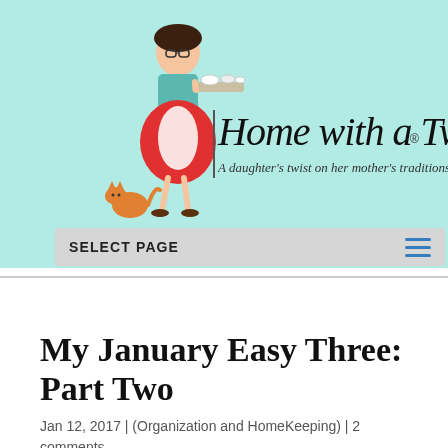[Figure (logo): Home with a Twist blog header logo featuring an illustrated woman in a red skirt holding a tray, with a cat, and the handwritten logo text 'Home with a Twist' with tagline 'A daughter's twist on her mother's traditions' on a mint/teal background]
SELECT PAGE
My January Easy Three: Part Two
Jan 12, 2017 | (Organization and HomeKeeping) | 2 comments